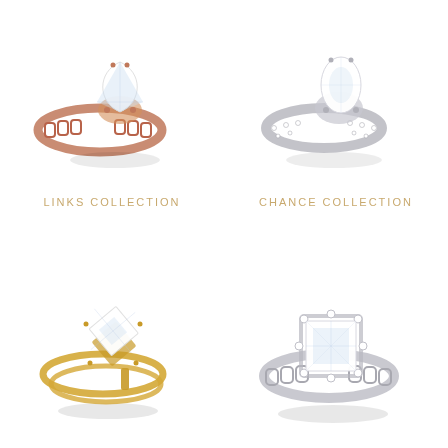[Figure (photo): Rose gold ring with chain-link band and large pear-shaped diamond solitaire - Links Collection]
[Figure (photo): Silver/white gold ring with pavé band and large oval diamond solitaire - Chance Collection]
LINKS COLLECTION
CHANCE COLLECTION
[Figure (photo): Yellow gold double-band ring with square tilted diamond stone - Links Collection]
[Figure (photo): Silver/white gold chain-link band ring with large square diamond and halo setting - Chance Collection]